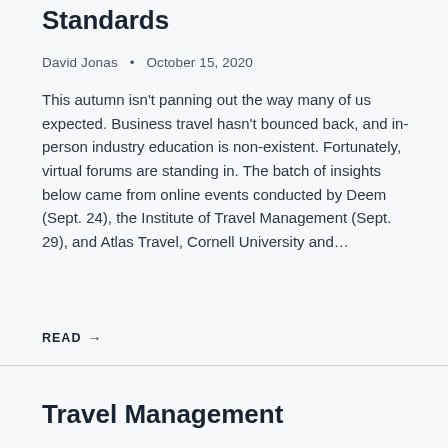Standards
David Jonas · October 15, 2020
This autumn isn't panning out the way many of us expected. Business travel hasn't bounced back, and in-person industry education is non-existent. Fortunately, virtual forums are standing in. The batch of insights below came from online events conducted by Deem (Sept. 24), the Institute of Travel Management (Sept. 29), and Atlas Travel, Cornell University and…
READ →
Travel Management